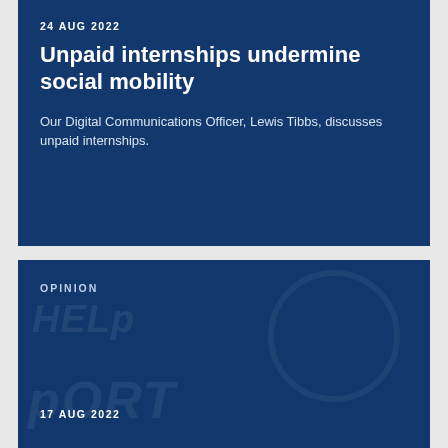24 AUG 2022
Unpaid internships undermine social mobility
Our Digital Communications Officer, Lewis Tibbs, discusses unpaid internships.
OPINION
17 AUG 2022